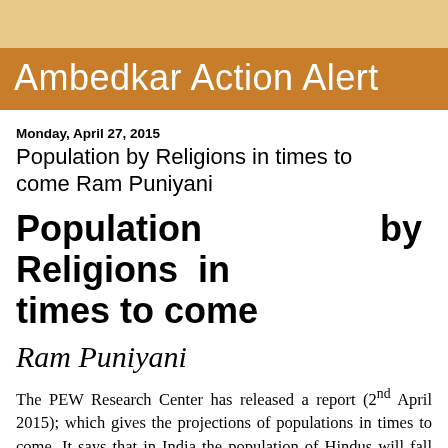Ambedkar Action Alert
Monday, April 27, 2015
Population by Religions in times to come Ram Puniyani
Population by Religions in times to come
Ram Puniyani
The PEW Research Center has released a report (2nd April 2015); which gives the projections of populations in times to come. It says that in India the population of Hindus will fall down from present 79.5 % to 76.7% and the Muslim population will rise up to 18% by 2050. The population of Indian Muslims will overtake the population of Muslims in